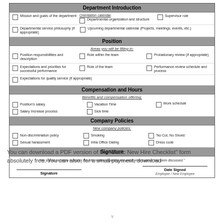Department Introduction
Mission and goals of the department
Orientation calendar; Departmental organization and structure
Supervisor role
Departmental service philosophy (if appropriate)
Upcoming departmental calendar (Projects, meetings, events, etc.)
Position
Areas you will be filling in:
Position responsibilities and description
Role within the team
Probationary review (if appropriate)
Expectations and priorities for successful performance
Role of the team
Performance review schedule and process
Expectations for quality service (if appropriate)
Compensation and Hours
Position's salary
Vacation Time
Work schedule
Salary Increase process
Sick time
Company Policies
Non-discrimination policy
Smoking
'No Cut, No Shoes'
Sexual harassment
Intra Office Dating
Dress code
Signature
"My signature below indicates the information regarding my employment above has been discussed."
Signature
Date Signed
Employee / New Employee
You can download a PDF version of the "Basic New Hire Checklist" form absolutely free. You can also, for a small payment, download